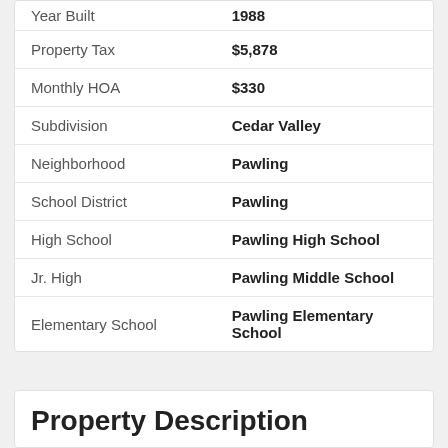| Field | Value |
| --- | --- |
| Year Built | 1988 |
| Property Tax | $5,878 |
| Monthly HOA | $330 |
| Subdivision | Cedar Valley |
| Neighborhood | Pawling |
| School District | Pawling |
| High School | Pawling High School |
| Jr. High | Pawling Middle School |
| Elementary School | Pawling Elementary School |
Property Description